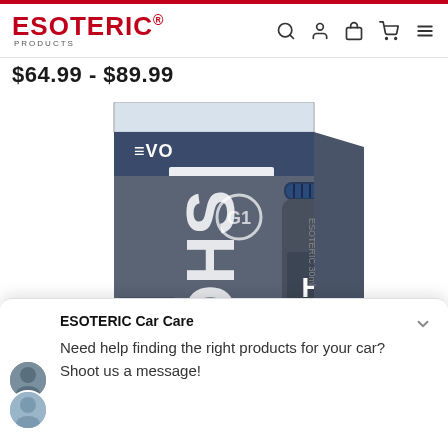ESOTERIC® PRODUCTS
$64.99 - $89.99
[Figure (photo): Product photo of MOHS EVO Paint Coating kit — a grey box with 'EVO PAINT COATING' text and a small grey bottle with blue cap labeled 'HS']
ESOTERIC Car Care
Need help finding the right products for your car? Shoot us a message!